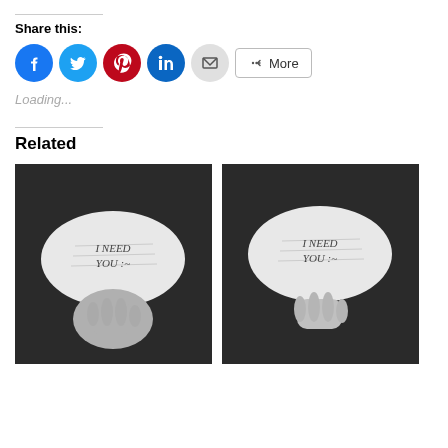Share this:
[Figure (other): Social share buttons: Facebook, Twitter, Pinterest, LinkedIn, Email, and More]
Loading...
Related
[Figure (photo): Black and white photo of a hand holding a torn piece of paper that reads 'I NEED YOU :~']
[Figure (photo): Black and white photo of a hand holding a torn piece of paper that reads 'I NEED YOU :~' (duplicate/related image)]